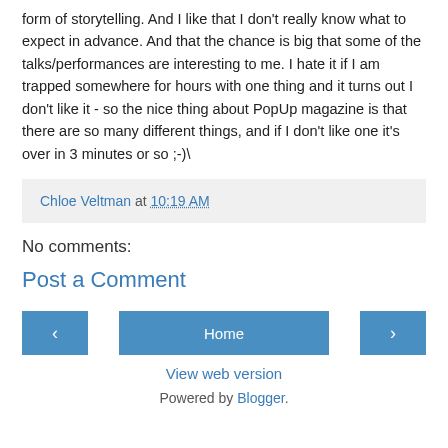form of storytelling. And I like that I don't really know what to expect in advance. And that the chance is big that some of the talks/performances are interesting to me. I hate it if I am trapped somewhere for hours with one thing and it turns out I don't like it - so the nice thing about PopUp magazine is that there are so many different things, and if I don't like one it's over in 3 minutes or so ;-)\
Chloe Veltman at 10:19 AM
No comments:
Post a Comment
‹
Home
›
View web version
Powered by Blogger.